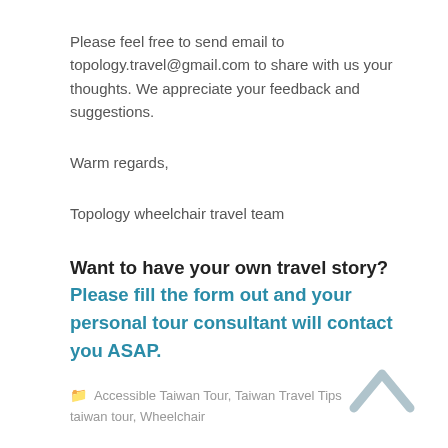Please feel free to send email to topology.travel@gmail.com to share with us your thoughts. We appreciate your feedback and suggestions.
Warm regards,
Topology wheelchair travel team
Want to have your own travel story? Please fill the form out and your personal tour consultant will contact you ASAP.
Accessible Taiwan Tour, Taiwan Travel Tips taiwan tour, Wheelchair